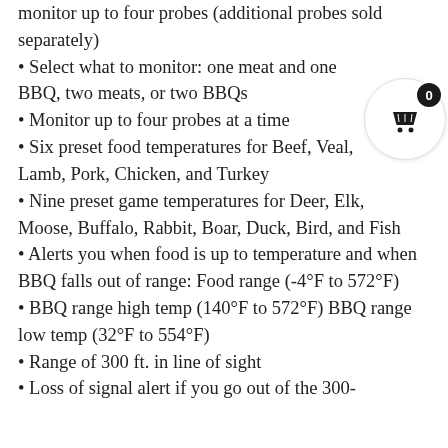monitor up to four probes (additional probes sold separately)
Select what to monitor: one meat and one BBQ, two meats, or two BBQs
Monitor up to four probes at a time
Six preset food temperatures for Beef, Veal, Lamb, Pork, Chicken, and Turkey
Nine preset game temperatures for Deer, Elk, Moose, Buffalo, Rabbit, Boar, Duck, Bird, and Fish
Alerts you when food is up to temperature and when BBQ falls out of range: Food range (-4°F to 572°F)
BBQ range high temp (140°F to 572°F) BBQ range low temp (32°F to 554°F)
Range of 300 ft. in line of sight
Loss of signal alert if you go out of the 300-